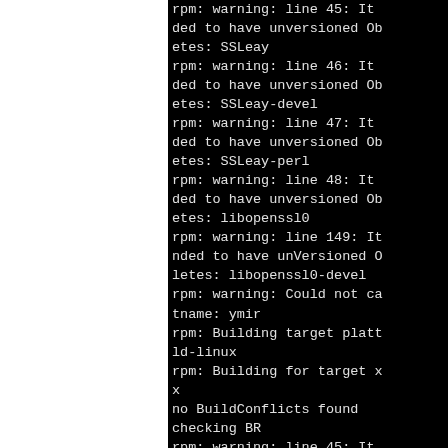rpm: warning: line 45: It is depre
cated to have unversioned Obsoletes: SSLeay
rpm: warning: line 46: It is depre
cated to have unversioned Obsoletes: SSLeay-devel
rpm: warning: line 47: It is depre
cated to have unversioned Obsoletes: SSLeay-perl
rpm: warning: line 48: It is depre
cated to have unversioned Obsoletes: libopenssl0
rpm: warning: line 149: It is inten
nded to have unversioned Obsoletes: libopenssl0-devel
rpm: warning: Could not canonicalize hostname: ymir
rpm: Building target platform: i386-old-linux
rpm: Building for target x86_64-suse-linux
x
no BuildConflicts found
checking BR
rpm: warning: line 45: It